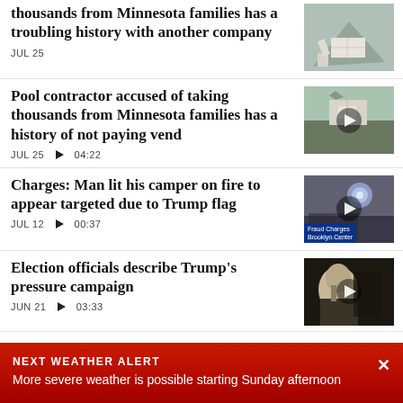thousands from Minnesota families has a troubling history with another company
JUL 25
Pool contractor accused of taking thousands from Minnesota families has a history of not paying vend
JUL 25  ▶ 04:22
Charges: Man lit his camper on fire to appear targeted due to Trump flag
JUL 12  ▶ 00:37
Election officials describe Trump's pressure campaign
JUN 21  ▶ 03:33
NEXT WEATHER ALERT
More severe weather is possible starting Sunday afternoon